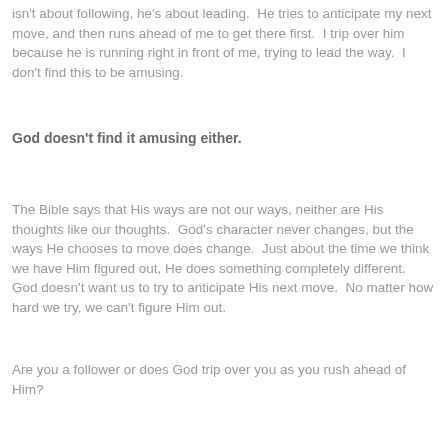isn't about following, he's about leading.  He tries to anticipate my next move, and then runs ahead of me to get there first.  I trip over him because he is running right in front of me, trying to lead the way.  I don't find this to be amusing.
God doesn't find it amusing either.
The Bible says that His ways are not our ways, neither are His thoughts like our thoughts.  God's character never changes, but the ways He chooses to move does change.  Just about the time we think we have Him figured out, He does something completely different.  God doesn't want us to try to anticipate His next move.  No matter how hard we try, we can't figure Him out.
Are you a follower or does God trip over you as you rush ahead of Him?